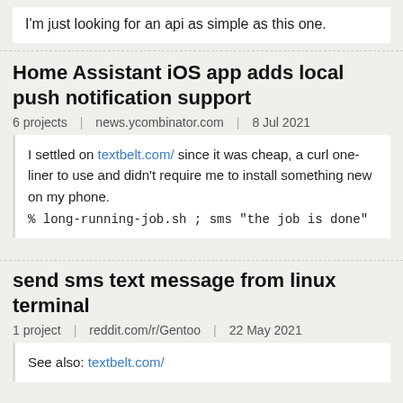I'm just looking for an api as simple as this one.
Home Assistant iOS app adds local push notification support
6 projects | news.ycombinator.com | 8 Jul 2021
I settled on textbelt.com/ since it was cheap, a curl one-liner to use and didn't require me to install something new on my phone.
% long-running-job.sh ; sms "the job is done"
send sms text message from linux terminal
1 project | reddit.com/r/Gentoo | 22 May 2021
See also: textbelt.com/